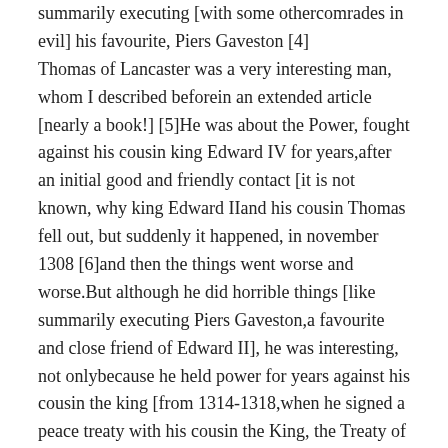summarily executing [with some othercomrades in evil] his favourite, Piers Gaveston [4] Thomas of Lancaster was a very interesting man, whom I described beforein an extended article [nearly a book!] [5]He was about the Power, fought against his cousin king Edward IV for years,after an initial good and friendly contact [it is not known, why king Edward IIand his cousin Thomas fell out, but suddenly it happened, in november 1308 [6]and then the things went worse and worse.But although he did horrible things [like summarily executing Piers Gaveston,a favourite and close friend of Edward II], he was interesting, not onlybecause he held power for years against his cousin the king [from 1314-1318,when he signed a peace treaty with his cousin the King, the Treaty of Leake,which did not last very long... [7] No